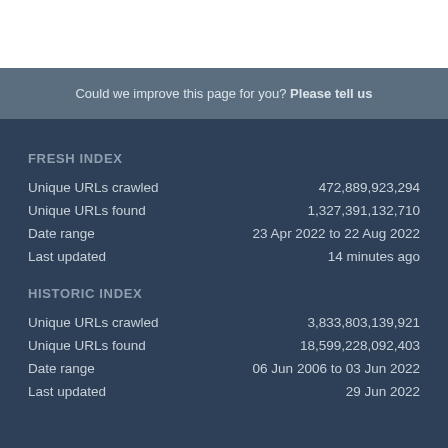Could we improve this page for you? Please tell us
FRESH INDEX
|  |  |
| --- | --- |
| Unique URLs crawled | 472,889,923,294 |
| Unique URLs found | 1,327,391,132,710 |
| Date range | 23 Apr 2022 to 22 Aug 2022 |
| Last updated | 14 minutes ago |
HISTORIC INDEX
|  |  |
| --- | --- |
| Unique URLs crawled | 3,833,803,139,921 |
| Unique URLs found | 18,599,228,092,403 |
| Date range | 06 Jun 2006 to 03 Jun 2022 |
| Last updated | 29 Jun 2022 |